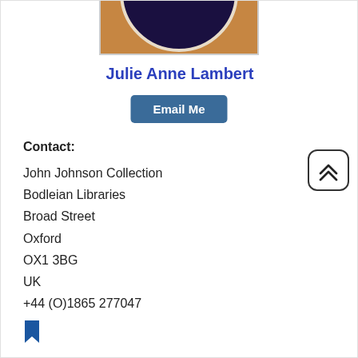[Figure (photo): Partial photo of Julie Anne Lambert, bottom portion showing a circular framed portrait]
Julie Anne Lambert
Email Me
Contact:
John Johnson Collection
Bodleian Libraries
Broad Street
Oxford
OX1 3BG
UK
+44 (O)1865 277047
[Figure (other): Bookmark icon (blue)]
[Figure (other): Scroll-to-top button with double chevron up arrow]